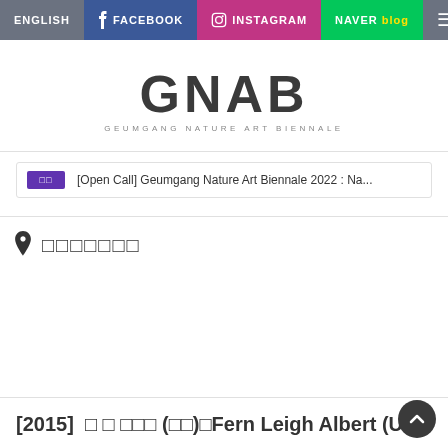ENGLISH | FACEBOOK | INSTAGRAM | NAVER blog
GNAB
GEUMGANG NATURE ART BIENNALE
[Open Call] Geumgang Nature Art Biennale 2022 : Na...
□□□□□□□
[2015]  □ □ □□□ (□□)□Fern Leigh Albert (UK)